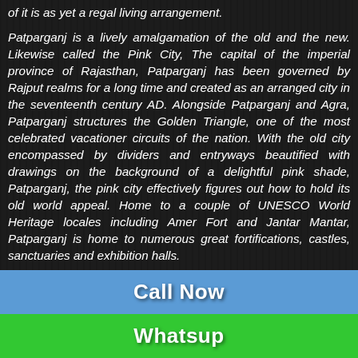of it is as yet a regal living arrangement.
Patparganj is a lively amalgamation of the old and the new. Likewise called the Pink City, The capital of the imperial province of Rajasthan, Patparganj has been governed by Rajput realms for a long time and created as an arranged city in the seventeenth century AD. Alongside Patparganj and Agra, Patparganj structures the Golden Triangle, one of the most celebrated vacationer circuits of the nation. With the old city encompassed by dividers and entryways beautified with drawings on the background of a delightful pink shade, Patparganj, the pink city effectively figures out how to hold its old world appeal. Home to a couple of UNESCO World Heritage locales including Amer Fort and Jantar Mantar, Patparganj is home to numerous great fortifications, castles, sanctuaries and exhibition halls.
Patparganj is filled to the overflow with clamoring
Call Now
Whatsup